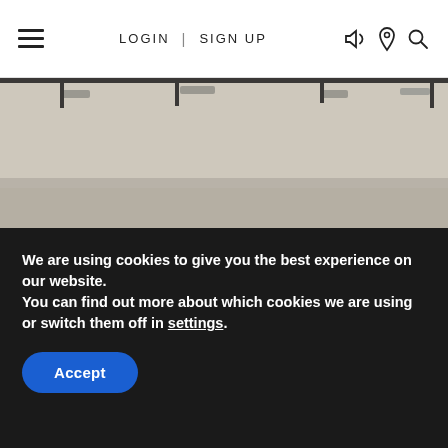LOGIN | SIGN UP
[Figure (photo): Interior room photo showing a white ceiling with recessed lighting and dark ceiling track/rail elements, partial top crop view]
[Figure (photo): Elegant dining room interior with exposed dark wood ceiling beams, a wrought iron globe chandelier with candle lights, white curtains, French doors, and a round mirror on the wall]
We are using cookies to give you the best experience on our website.
You can find out more about which cookies we are using or switch them off in settings.
Accept